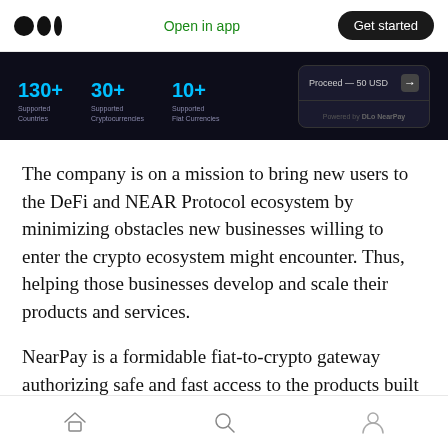Open in app  Get started
[Figure (screenshot): Dark banner showing stats: 130+ Supported Countries, 30+ Supported Cryptocurrencies, 10+ Supported Fiat Currencies, with a Proceed — 50 USD button]
The company is on a mission to bring new users to the DeFi and NEAR Protocol ecosystem by minimizing obstacles new businesses willing to enter the crypto ecosystem might encounter. Thus, helping those businesses develop and scale their products and services.
NearPay is a formidable fiat-to-crypto gateway authorizing safe and fast access to the products built on NEAR Protocol and the entire DeFi space
Home  Search  Profile